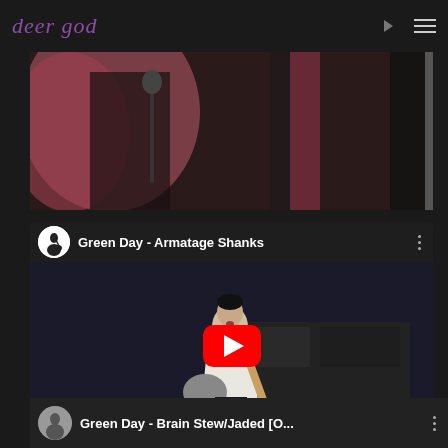deer god
[Figure (screenshot): Partial cropped video showing concert performers on stage with pink and dark background]
[Figure (screenshot): YouTube video embed: Green Day - Armatage Shanks. Shows a guitarist in white shirt playing on stage with YouTube play button overlay.]
[Figure (screenshot): YouTube video embed (partial): Green Day - Brain Stew/Jaded [O... with channel avatar and three-dot menu]